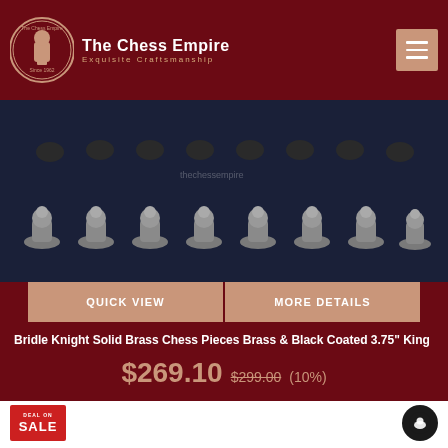The Chess Empire — Exquisite Craftsmanship
[Figure (photo): Rows of brass and black coated chess pieces (pawns and other pieces) arranged on a dark blue/black surface]
QUICK VIEW   MORE DETAILS
Bridle Knight Solid Brass Chess Pieces Brass & Black Coated 3.75" King
$269.10  $299.00  (10%)